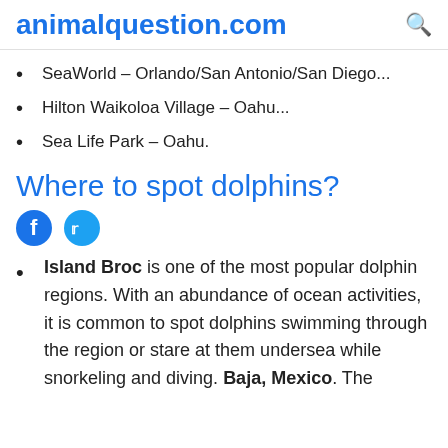animalquestion.com
SeaWorld – Orlando/San Antonio/San Diego...
Hilton Waikoloa Village – Oahu...
Sea Life Park – Oahu.
Where to spot dolphins?
[Figure (other): Facebook and Twitter social share icons]
Island Broc is one of the most popular dolphin regions. With an abundance of ocean activities, it is common to spot dolphins swimming through the region or stare at them undersea while snorkeling and diving. Baja, Mexico. The